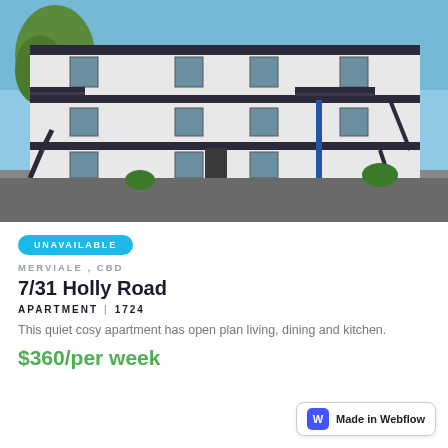[Figure (photo): Exterior photo of a multi-storey white apartment building with dark metal balconies and staircases, photographed from the courtyard on a sunny day with blue sky and trees visible.]
UNAVAILABLE
MERVIALE , CBD
7/31 Holly Road
APARTMENT | 1724
This quiet cosy apartment has open plan living, dining and kitchen.
$360/per week